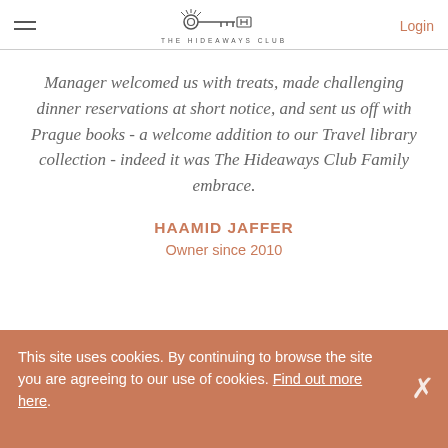THE HIDEAWAYS CLUB | Login
Manager welcomed us with treats, made challenging dinner reservations at short notice, and sent us off with Prague books - a welcome addition to our Travel library collection - indeed it was The Hideaways Club Family embrace.
HAAMID JAFFER
Owner since 2010
This site uses cookies. By continuing to browse the site you are agreeing to our use of cookies. Find out more here.